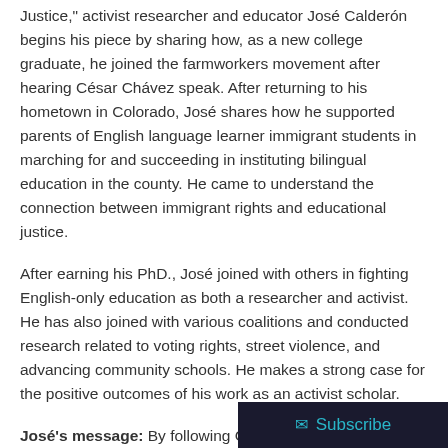Justice," activist researcher and educator José Calderón begins his piece by sharing how, as a new college graduate, he joined the farmworkers movement after hearing César Chávez speak. After returning to his hometown in Colorado, José shares how he supported parents of English language learner immigrant students in marching for and succeeding in instituting bilingual education in the county. He came to understand the connection between immigrant rights and educational justice.
After earning his PhD., José joined with others in fighting English-only education as both a researcher and activist. He has also joined with various coalitions and conducted research related to voting rights, street violence, and advancing community schools. He makes a strong case for the positive outcomes of his work as an activist scholar.
José's message: By following César Chávez's principle of living one's life in the service of others and forming mutually beneficial partnerships, we can look back on our lives and say that we have made meaningful contributions to imp... add b...